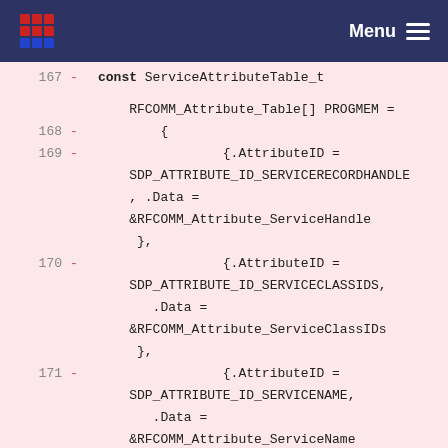Menu
167 - const ServiceAttributeTable_t RFCOMM_Attribute_Table[] PROGMEM =
168 - {
169 - {.AttributeID = SDP_ATTRIBUTE_ID_SERVICERECORDHANDLE, .Data = &RFCOMM_Attribute_ServiceHandle },
170 - {.AttributeID = SDP_ATTRIBUTE_ID_SERVICECLASSIDS, .Data = &RFCOMM_Attribute_ServiceClassIDs },
171 - {.AttributeID = SDP_ATTRIBUTE_ID_SERVICENAME, .Data = &RFCOMM_Attribute_ServiceName },
172 - {.AttributeID = SDP_ATTRIBUTE_ID_SERVICEDESCRIPTION,